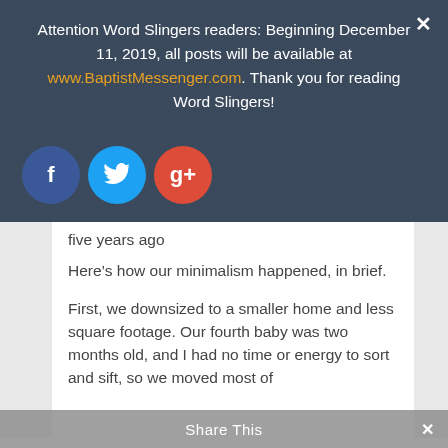Attention Word Slingers readers: Beginning December 11, 2019, all posts will be available at www.BaptistMessenger.com. Thank you for reading Word Slingers!
[Figure (infographic): Three social media share buttons: Facebook (dark blue circle with f), Twitter (light blue circle with bird icon), Google+ (red circle with g+)]
five years ago
Here's how our minimalism happened, in brief.
First, we downsized to a smaller home and less square footage. Our fourth baby was two months old, and I had no time or energy to sort and sift, so we moved most of
Share This